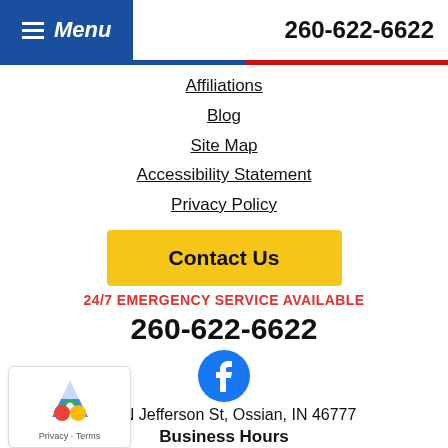Menu  260-622-6622
Affiliations
Blog
Site Map
Accessibility Statement
Privacy Policy
Contact Us
24/7 EMERGENCY SERVICE AVAILABLE
260-622-6622
[Figure (logo): Facebook icon - blue circle with white f]
215 N Jefferson St, Ossian, IN 46777
Business Hours